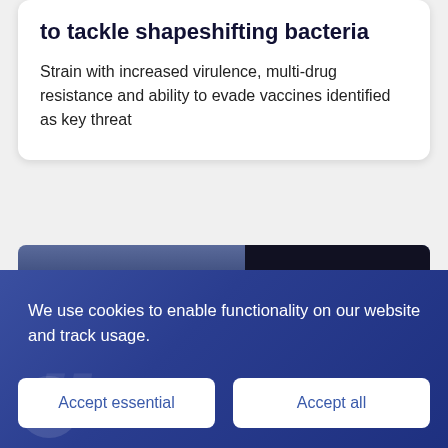to tackle shapeshifting bacteria
Strain with increased virulence, multi-drug resistance and ability to evade vaccines identified as key threat
[Figure (photo): Partial view of a scientific/technology image, dark and blue tones, partially obscured by cookie consent overlay]
We use cookies to enable functionality on our website and track usage.
Accept essential
Accept all
Cookie settings